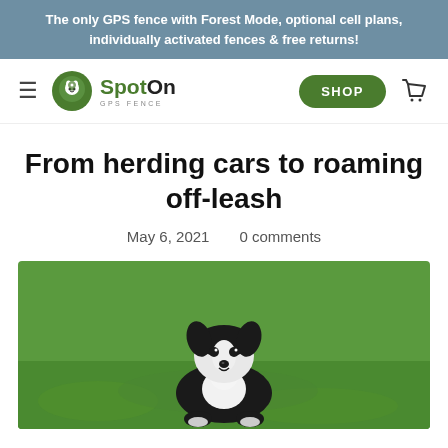The only GPS fence with Forest Mode, optional cell plans, individually activated fences & free returns!
[Figure (logo): SpotOn GPS Fence logo with green circle and dog silhouette icon]
From herding cars to roaming off-leash
May 6, 2021    0 comments
[Figure (photo): Black and white Border Collie puppy sitting on green grass, looking at camera]